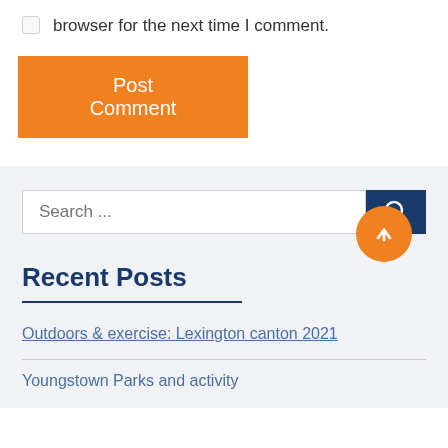browser for the next time I comment.
Post Comment
Search ...
Recent Posts
Outdoors & exercise: Lexington canton 2021
Youngstown Parks and activity